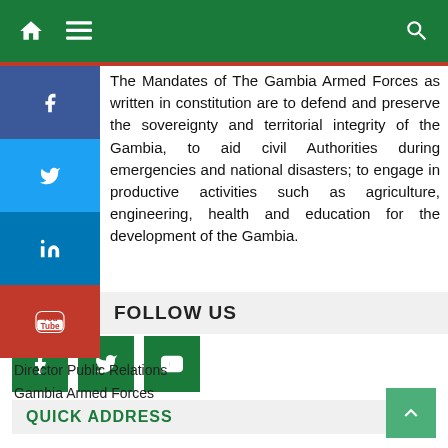Navigation bar with home, menu icons and search
The Mandates of The Gambia Armed Forces as written in constitution are to defend and preserve the sovereignty and territorial integrity of the Gambia, to aid civil Authorities during emergencies and national disasters; to engage in productive activities such as agriculture, engineering, health and education for the development of the Gambia.
FOLLOW US
Director Public Relations
Gambia Armed Forces
QUICK ADDRESS